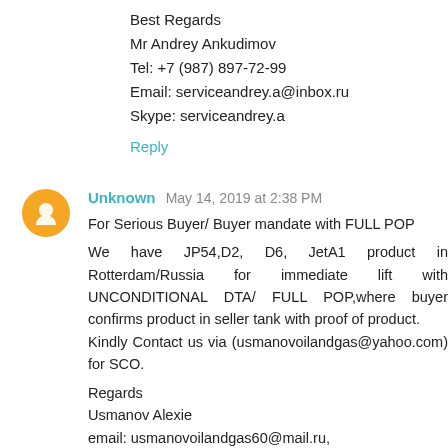Best Regards
Mr Andrey Ankudimov
Tel: +7 (987) 897-72-99
Email: serviceandrey.a@inbox.ru
Skype: serviceandrey.a
Reply
Unknown  May 14, 2019 at 2:38 PM
For Serious Buyer/ Buyer mandate with FULL POP

We have JP54,D2, D6, JetA1 product in Rotterdam/Russia for immediate lift with UNCONDITIONAL DTA/ FULL POP,where buyer confirms product in seller tank with proof of product.
Kindly Contact us via (usmanovoilandgas@yahoo.com) for SCO.

Regards
Usmanov Alexie
email: usmanovoilandgas60@mail.ru,